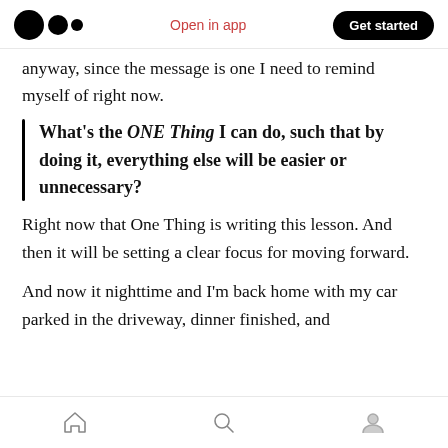Medium app header with logo, 'Open in app' link, and 'Get started' button
anyway, since the message is one I need to remind myself of right now.
What's the ONE Thing I can do, such that by doing it, everything else will be easier or unnecessary?
Right now that One Thing is writing this lesson. And then it will be setting a clear focus for moving forward.
And now it nighttime and I'm back home with my car parked in the driveway, dinner finished, and the next step is writing My One Thing for tonight
Bottom navigation bar with home, search, and profile icons